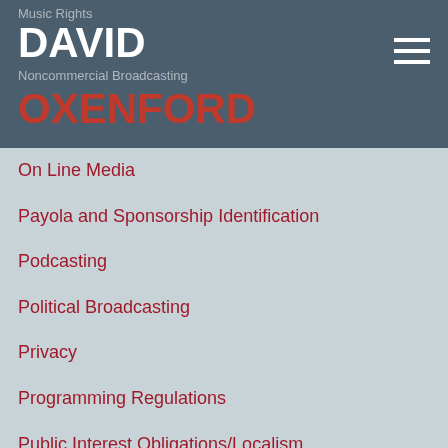Music Rights | DAVID OXENFORD | Noncommercial Broadcasting
On Line Media
Payola and Sponsorship Identification
Podcasting
Political Broadcasting
Privacy
Programming Regulations
Public Interest Obligations/Localism
Security
Television
Tower Issues
Trademark